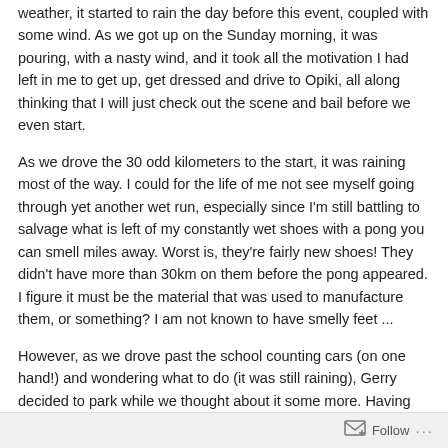weather, it started to rain the day before this event, coupled with some wind. As we got up on the Sunday morning, it was pouring, with a nasty wind, and it took all the motivation I had left in me to get up, get dressed and drive to Opiki, all along thinking that I will just check out the scene and bail before we even start.
As we drove the 30 odd kilometers to the start, it was raining most of the way. I could for the life of me not see myself going through yet another wet run, especially since I'm still battling to salvage what is left of my constantly wet shoes with a pong you can smell miles away. Worst is, they're fairly new shoes! They didn't have more than 30km on them before the pong appeared. I figure it must be the material that was used to manufacture them, or something? I am not known to have smelly feet ...
However, as we drove past the school counting cars (on one hand!) and wondering what to do (it was still raining), Gerry decided to park while we thought about it some more. Having
Follow